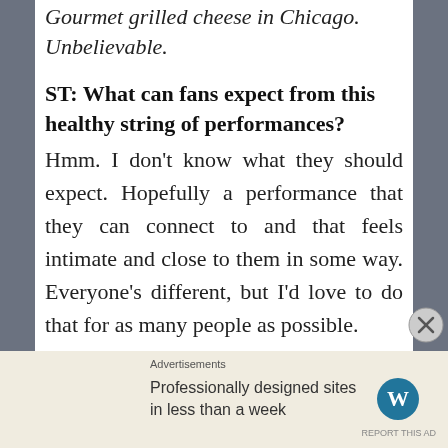Gourmet grilled cheese in Chicago. Unbelievable.
ST: What can fans expect from this healthy string of performances?
Hmm. I don't know what they should expect. Hopefully a performance that they can connect to and that feels intimate and close to them in some way. Everyone's different, but I'd love to do that for as many people as possible.
ST: What bands/artists are you jamming to right now?
B: Future Teens – Northeast Indie Emo
Phoebe Bridgers – Indie Singer Songwriter
Advertisements
Professionally designed sites in less than a week